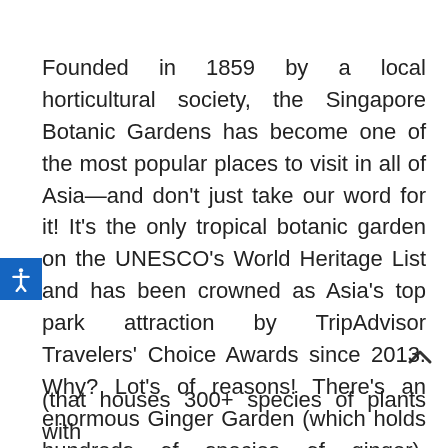Founded in 1859 by a local horticultural society, the Singapore Botanic Gardens has become one of the most popular places to visit in all of Asia—and don't just take our word for it! It's the only tropical botanic garden on the UNESCO's World Heritage List and has been crowned as Asia's top park attraction by TripAdvisor Travelers' Choice Awards since 2013. Why? Lot's of reasons! There's an enormous Ginger Garden (which holds hundreds of species of ginger), waterfalls, a water lily pool, an Ethnobotany Garden
(that houses 300+ species of plants with